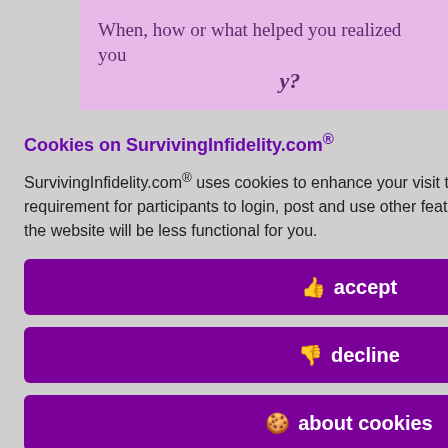When, how or what helped you realized you ...y?
...pen all at once. n say or do to hat my BS by saying NO bout him. Your ork of nd, the thing hinking brains nd this place n there.
Cookies on SurvivingInfidelity.com®
SurvivingInfidelity.com® uses cookies to enhance your visit to our website. This is a requirement for participants to login, post and use other features. Visitors may opt out, but the website will be less functional for you.
accept
decline
about cookies
...in response to
Policy